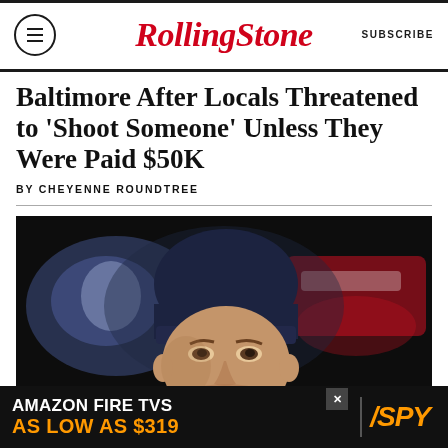Rolling Stone  SUBSCRIBE
Baltimore After Locals Threatened to 'Shoot Someone' Unless They Were Paid $50K
BY CHEYENNE ROUNDTREE
[Figure (photo): Man wearing a dark navy beanie hat looking upward, with blurred New England Patriots logo in background]
[Figure (infographic): Advertisement banner: AMAZON FIRE TVS AS LOW AS $319, SPY logo]